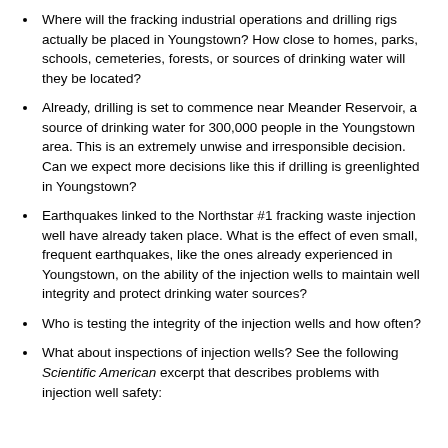Where will the fracking industrial operations and drilling rigs actually be placed in Youngstown? How close to homes, parks, schools, cemeteries, forests, or sources of drinking water will they be located?
Already, drilling is set to commence near Meander Reservoir, a source of drinking water for 300,000 people in the Youngstown area. This is an extremely unwise and irresponsible decision. Can we expect more decisions like this if drilling is greenlighted in Youngstown?
Earthquakes linked to the Northstar #1 fracking waste injection well have already taken place. What is the effect of even small, frequent earthquakes, like the ones already experienced in Youngstown, on the ability of the injection wells to maintain well integrity and protect drinking water sources?
Who is testing the integrity of the injection wells and how often?
What about inspections of injection wells? See the following Scientific American excerpt that describes problems with injection well safety: